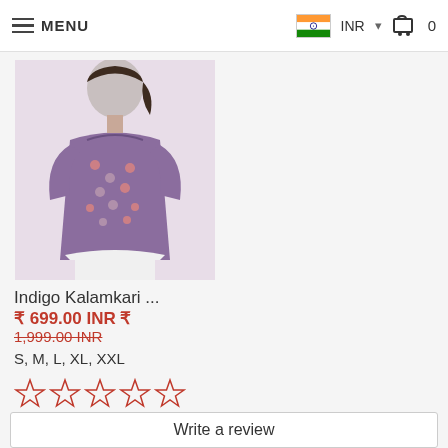MENU | INR | Cart 0
[Figure (photo): Woman wearing Indigo Kalamkari printed top with short sleeves, floral/geometric print in blue and pink tones]
Indigo Kalamkari ...
₹ 699.00 INR ₹
1,999.00 INR (strikethrough)
S, M, L, XL, XXL
[Figure (other): 5 empty/outline star rating icons in red/pink]
Write a review
Be the first to write a review